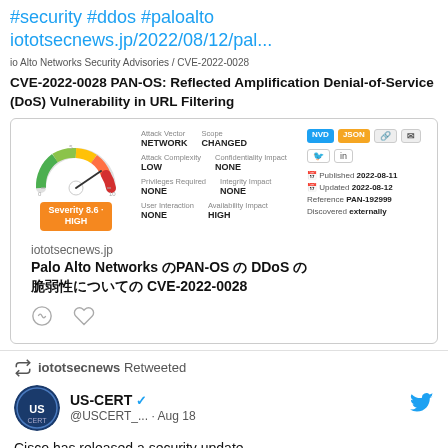#security #ddos #paloalto iototsecnews.jp/2022/08/12/pal...
io Alto Networks Security Advisories / CVE-2022-0028
CVE-2022-0028 PAN-OS: Reflected Amplification Denial-of-Service (DoS) Vulnerability in URL Filtering
[Figure (infographic): CVSS severity gauge showing 8.6 HIGH rating with fields: Attack Vector NETWORK, Attack Complexity LOW, Privileges Required NONE, User Interaction NONE, Scope CHANGED, Confidentiality Impact NONE, Integrity Impact NONE, Availability Impact HIGH. Published 2022-08-11, Updated 2022-08-12, Reference PAN-192999, Discovered externally.]
iototsecnews.jp
Palo Alto Networks のPAN-OS の DDoS の脆弱性についての CVE-2022-0028
iototsecnews Retweeted
US-CERT @USCERT_... · Aug 18
Cisco has released a security update